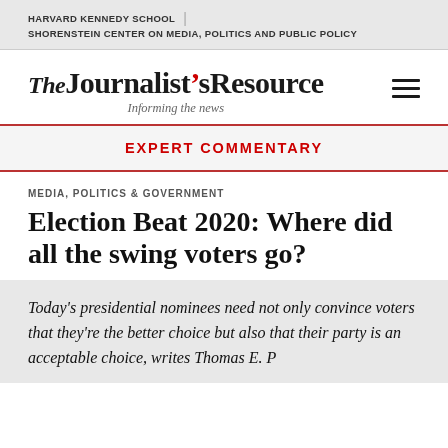HARVARD KENNEDY SCHOOL | SHORENSTEIN CENTER ON MEDIA, POLITICS AND PUBLIC POLICY
[Figure (logo): The Journalist's Resource logo with tagline 'Informing the news' and hamburger menu icon]
EXPERT COMMENTARY
MEDIA, POLITICS & GOVERNMENT
Election Beat 2020: Where did all the swing voters go?
Today's presidential nominees need not only convince voters that they're the better choice but also that their party is an acceptable choice, writes Thomas E. P...